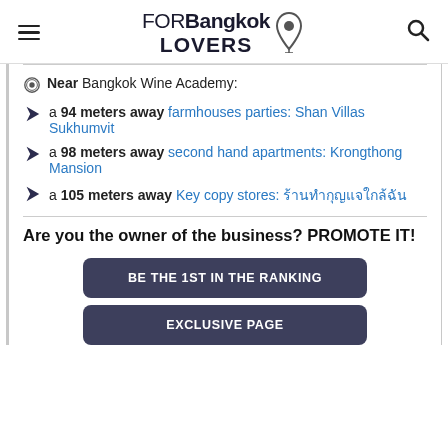FORBangkok LOVERS
Near Bangkok Wine Academy:
a 94 meters away farmhouses parties: Shan Villas Sukhumvit
a 98 meters away second hand apartments: Krongthong Mansion
a 105 meters away Key copy stores: ร้านกุญแจ
Are you the owner of the business? PROMOTE IT!
BE THE 1ST IN THE RANKING
EXCLUSIVE PAGE